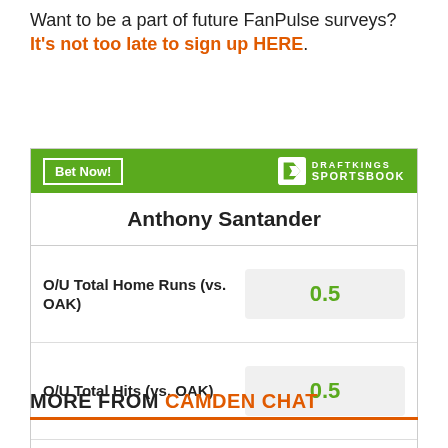Want to be a part of future FanPulse surveys? It's not too late to sign up HERE.
[Figure (other): DraftKings Sportsbook betting widget for Anthony Santander showing O/U Total Home Runs (vs. OAK) 0.5, O/U Total Hits (vs. OAK) 0.5, O/U Total Singles (vs. OAK) 0.5, with Bet Now button and DraftKings Sportsbook logo. Footer: Odds/Lines subject to change. See draftkings.com for details.]
MORE FROM CAMDEN CHAT